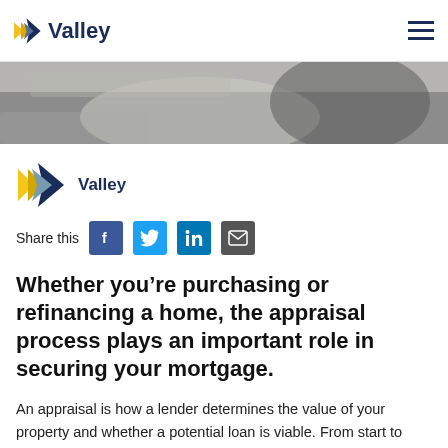Valley
[Figure (photo): Partial view of a person in a business setting, cropped hero banner image]
[Figure (logo): Valley bank logo with chevron/arrow icon in yellow and navy blue, with bold text 'Valley']
Share this
Whether you’re purchasing or refinancing a home, the appraisal process plays an important role in securing your mortgage.
An appraisal is how a lender determines the value of your property and whether a potential loan is viable. From start to finish, understanding the appraisal